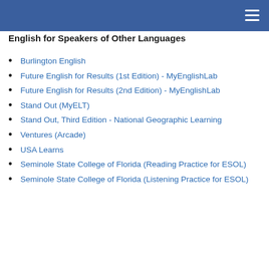English for Speakers of Other Languages
Burlington English
Future English for Results (1st Edition) - MyEnglishLab
Future English for Results (2nd Edition) - MyEnglishLab
Stand Out (MyELT)
Stand Out, Third Edition - National Geographic Learning
Ventures (Arcade)
USA Learns
Seminole State College of Florida (Reading Practice for ESOL)
Seminole State College of Florida (Listening Practice for ESOL)